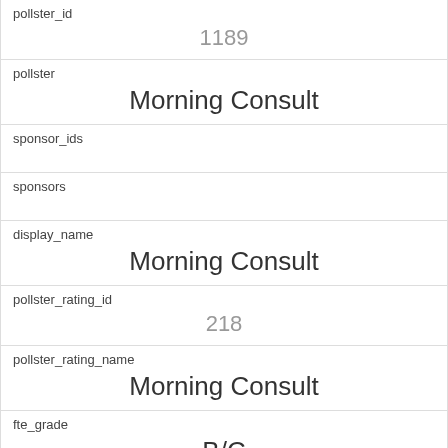| Field | Value |
| --- | --- |
| pollster_id | 1189 |
| pollster | Morning Consult |
| sponsor_ids |  |
| sponsors |  |
| display_name | Morning Consult |
| pollster_rating_id | 218 |
| pollster_rating_name | Morning Consult |
| fte_grade | B/C |
| sample_size | 2200 |
| population | a |